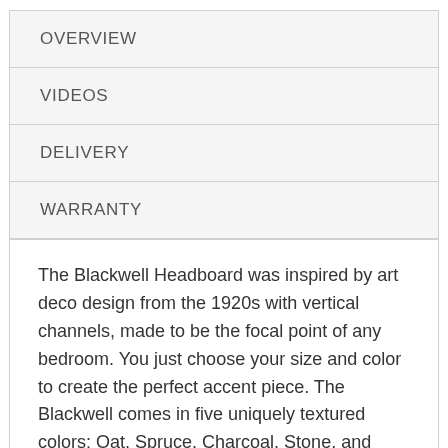OVERVIEW
VIDEOS
DELIVERY
WARRANTY
The Blackwell Headboard was inspired by art deco design from the 1920s with vertical channels, made to be the focal point of any bedroom. You just choose your size and color to create the perfect accent piece. The Blackwell comes in five uniquely textured colors: Oat, Spruce, Charcoal, Stone, and Desert. Your purchase is protected by a 15-year warranty, which ensures high-quality construction. Plus, a portion of every Malouf Furniture purchase goes to the Malouf Foundation's fight to end child sexual exploitation.